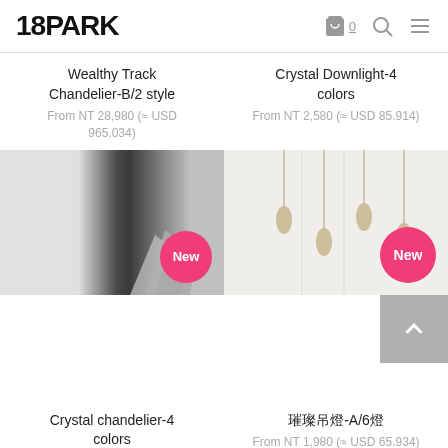18PARK
Wealthy Track Chandelier-B/2 style
From NT 28,980 (≈ USD 965.034)
Crystal Downlight-4 colors
From NT 2,580 (≈ USD 85.914)
[Figure (photo): Product image of Wealthy Track Chandelier with New badge]
[Figure (photo): Product image of Crystal Downlight pendant lights with New badge]
Crystal chandelier-4 colors
From NT 1,980 (≈ USD 65.934)
璀璨吊燈-A/6燈
From NT 1,980 (≈ USD 65.934)